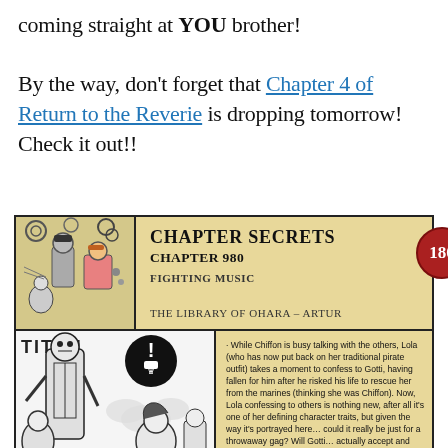coming straight at YOU brother!
By the way, don't forget that Chapter 4 of Return to the Reverie is dropping tomorrow! Check it out!!
[Figure (illustration): Chapter Secrets card banner for Chapter 980 - Fighting Music, The Library of Ohara - Artur. Features a manga thumbnail on the left, title text in the center, a red circular badge with '180' on the right, and a manga panel at the bottom showing characters with accompanying text about Chiffon, Lola, and Gotti.]